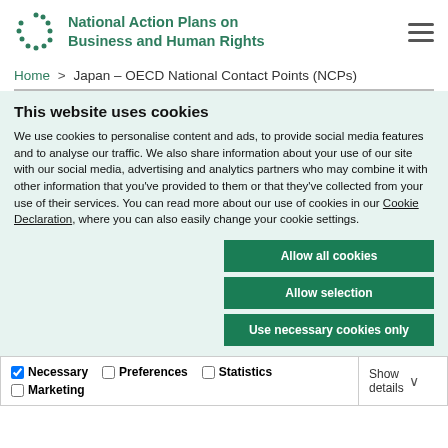National Action Plans on Business and Human Rights
Home > Japan – OECD National Contact Points (NCPs)
This website uses cookies
We use cookies to personalise content and ads, to provide social media features and to analyse our traffic. We also share information about your use of our site with our social media, advertising and analytics partners who may combine it with other information that you've provided to them or that they've collected from your use of their services. You can read more about our use of cookies in our Cookie Declaration, where you can also easily change your cookie settings.
Allow all cookies
Allow selection
Use necessary cookies only
Necessary  Preferences  Statistics  Marketing  Show details